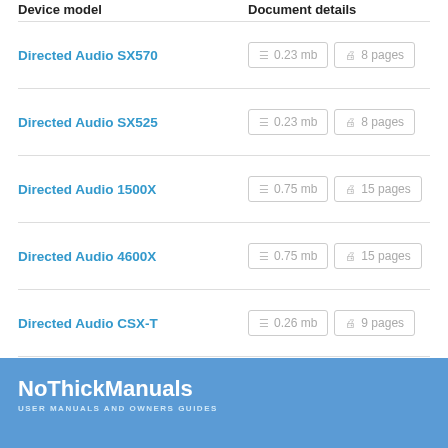Device model
Document details
Directed Audio SX570 | 0.23 mb | 8 pages
Directed Audio SX525 | 0.23 mb | 8 pages
Directed Audio 1500X | 0.75 mb | 15 pages
Directed Audio 4600X | 0.75 mb | 15 pages
Directed Audio CSX-T | 0.26 mb | 9 pages
Directed Audio 2300X | 0.75 mb | 15 pages
NoThickManuals USER MANUALS AND OWNERS GUIDES